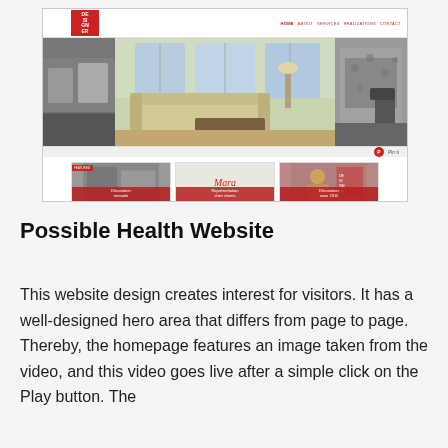[Figure (screenshot): Screenshot of an interior design website ('De-sign-er') featuring a navigation bar with logo, a hero area with three interior room photos (living room in black and white on left, bright living room with sectional sofa in center, dining area in black and white on right), a Pinterest share button, three feature panels below with red labels ('Décoration renouée', 'Mara' with logo, 'Décoration zone 2015'), social sharing bar with Facebook button, and a footer with navigation links and a script signature.]
Possible Health Website
This website design creates interest for visitors. It has a well-designed hero area that differs from page to page. Thereby, the homepage features an image taken from the video, and this video goes live after a simple click on the Play button. The